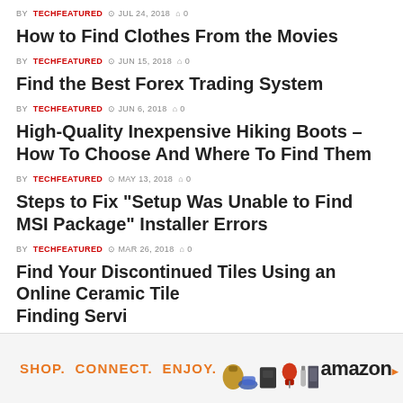BY TECHFEATURED  JUL 24, 2018  0
How to Find Clothes From the Movies
BY TECHFEATURED  JUN 15, 2018  0
Find the Best Forex Trading System
BY TECHFEATURED  JUN 6, 2018  0
High-Quality Inexpensive Hiking Boots – How To Choose And Where To Find Them
BY TECHFEATURED  MAY 13, 2018  0
Steps to Fix "Setup Was Unable to Find MSI Package" Installer Errors
BY TECHFEATURED  MAR 26, 2018  0
Find Your Discontinued Tiles Using an Online Ceramic Tile Finding Service
[Figure (infographic): Amazon advertisement banner: SHOP. CONNECT. ENJOY. with product images and Amazon logo]